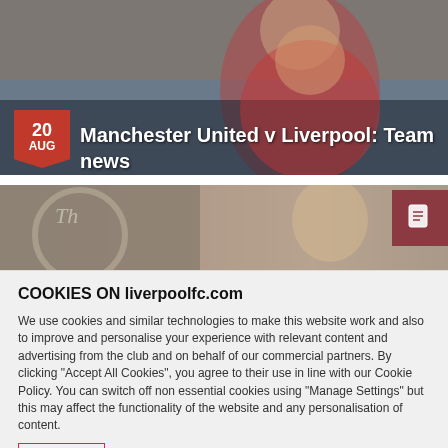[Figure (photo): Liverpool footballer in red kit with Expedia sponsor, dark background]
Manchester United v Liverpool: Team news
[Figure (photo): Second article thumbnail showing a person, with document icon on right]
COOKIES ON liverpoolfc.com
We use cookies and similar technologies to make this website work and also to improve and personalise your experience with relevant content and advertising from the club and on behalf of our commercial partners. By clicking "Accept All Cookies", you agree to their use in line with our Cookie Policy. You can switch off non essential cookies using "Manage Settings" but this may affect the functionality of the website and any personalisation of content.
Cookie Policy